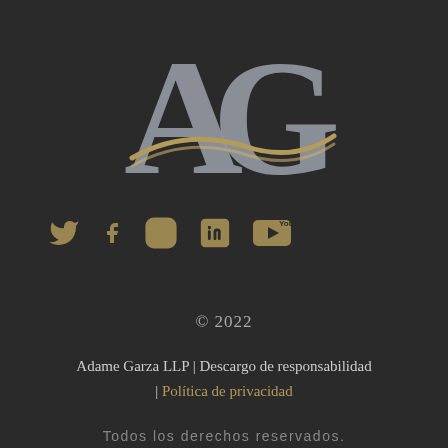[Figure (logo): AG law firm logo with large silver 'A' and 'G' letters and a gold swoosh/wave underneath them]
[Figure (infographic): Social media icons in gold/dark gold: Twitter bird, Facebook f, Instagram camera, LinkedIn in, YouTube play button]
© 2022
Adame Garza LLP | Descargo de responsabilidad | Política de privacidad
Todos los derechos reservados.